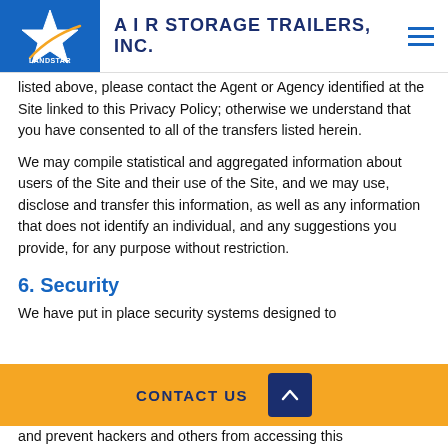A I R STORAGE TRAILERS, INC.
listed above, please contact the Agent or Agency identified at the Site linked to this Privacy Policy; otherwise we understand that you have consented to all of the transfers listed herein.
We may compile statistical and aggregated information about users of the Site and their use of the Site, and we may use, disclose and transfer this information, as well as any information that does not identify an individual, and any suggestions you provide, for any purpose without restriction.
6. Security
We have put in place security systems designed to
and prevent hackers and others from accessing this